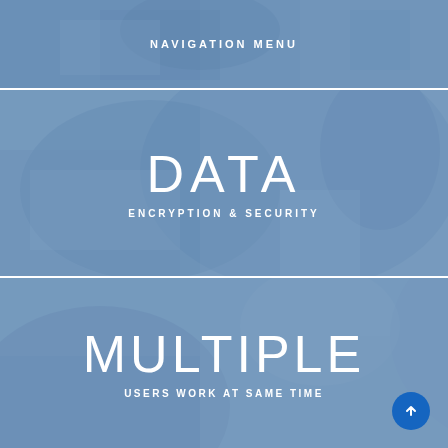NAVIGATION MENU
[Figure (photo): Business people working at a desk, blue tinted overlay, navigation menu banner]
DATA
ENCRYPTION & SECURITY
[Figure (photo): Two businessmen reviewing documents together, blue tinted overlay, data encryption section]
MULTIPLE
USERS WORK AT SAME TIME
[Figure (photo): Business presentation with multiple people, blue tinted overlay, multiple users section]